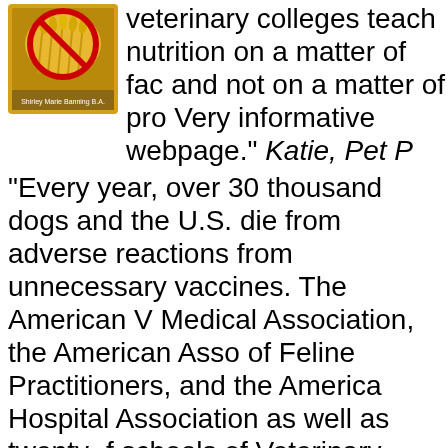[Figure (illustration): Book cover with a red circle-slash symbol over grain/corn, author name Shirley Marie Banning B.A.]
veterinary colleges teach nutrition on a matter of fact and not on a matter of pro Very informative webpage." Katie, Pet P
"Every year, over 30 thousand dogs and the U.S. die from adverse reactions from unnecessary vaccines. The American V Medical Association, the American Asso of Feline Practitioners, and the American Hospital Association as well as twenty- f schools of Veterinary Medicine in the U.
[Figure (photo): Sign reading DON'T OVER-VACCINATE YOUR PETS with an orange circle-slash symbol]
endorsed reductions numbers a frequency